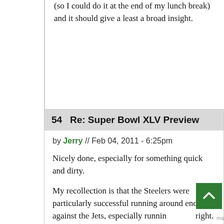(so I could do it at the end of my lunch break) and it should give a least a broad insight.
54   Re: Super Bowl XLV Preview
by Jerry // Feb 04, 2011 - 6:25pm
Nicely done, especially for something quick and dirty.
My recollection is that the Steelers were particularly successful running around end against the Jets, especially running right. (Flozell is probably better at the point of attack than Jonathan Scott.)
And with all the negative numbers, it looks like the Packers will be trying to